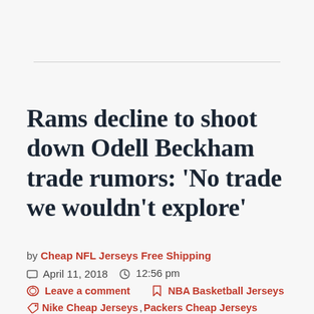Rams decline to shoot down Odell Beckham trade rumors: 'No trade we wouldn't explore'
by Cheap NFL Jerseys Free Shipping
April 11, 2018   12:56 pm
Leave a comment   NBA Basketball Jerseys
Nike Cheap Jerseys, Packers Cheap Jerseys